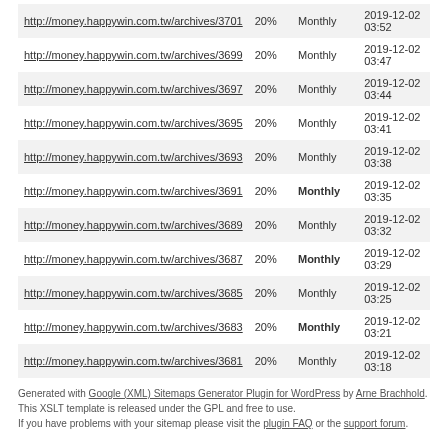| http://money.happywin.com.tw/archives/3701 | 20% | Monthly | 2019-12-02 03:52 |
| http://money.happywin.com.tw/archives/3699 | 20% | Monthly | 2019-12-02 03:47 |
| http://money.happywin.com.tw/archives/3697 | 20% | Monthly | 2019-12-02 03:44 |
| http://money.happywin.com.tw/archives/3695 | 20% | Monthly | 2019-12-02 03:41 |
| http://money.happywin.com.tw/archives/3693 | 20% | Monthly | 2019-12-02 03:38 |
| http://money.happywin.com.tw/archives/3691 | 20% | Monthly | 2019-12-02 03:35 |
| http://money.happywin.com.tw/archives/3689 | 20% | Monthly | 2019-12-02 03:32 |
| http://money.happywin.com.tw/archives/3687 | 20% | Monthly | 2019-12-02 03:29 |
| http://money.happywin.com.tw/archives/3685 | 20% | Monthly | 2019-12-02 03:25 |
| http://money.happywin.com.tw/archives/3683 | 20% | Monthly | 2019-12-02 03:21 |
| http://money.happywin.com.tw/archives/3681 | 20% | Monthly | 2019-12-02 03:18 |
Generated with Google (XML) Sitemaps Generator Plugin for WordPress by Arne Brachhold. This XSLT template is released under the GPL and free to use.
If you have problems with your sitemap please visit the plugin FAQ or the support forum.